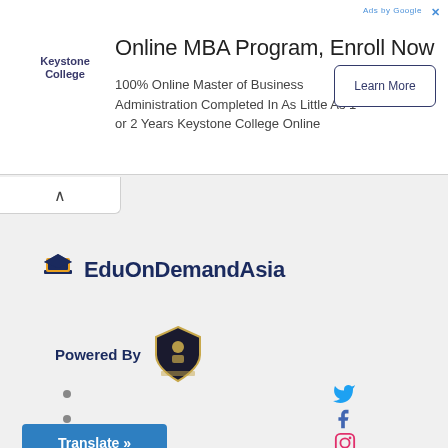[Figure (infographic): Advertisement banner for Keystone College Online MBA Program with Learn More button]
Online MBA Program, Enroll Now
100% Online Master of Business Administration Completed In As Little As 1 or 2 Years Keystone College Online
[Figure (logo): EduOnDemandAsia logo with graduation cap icon]
Powered By
[Figure (logo): Shield crest logo/badge]
•
•
[Figure (infographic): Twitter bird social icon in cyan blue]
[Figure (infographic): Facebook f social icon in dark blue]
[Figure (infographic): Instagram camera social icon in red/pink]
Translate »